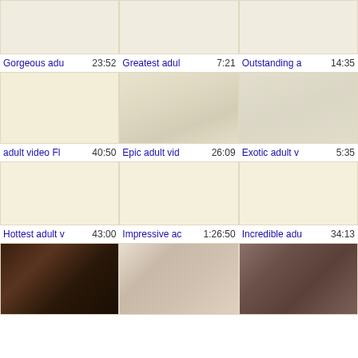[Figure (screenshot): Video thumbnail grid row 1 - three video thumbnails]
Gorgeous adu  23:52    Greatest adul  7:21    Outstanding a  14:35
[Figure (screenshot): Video thumbnail grid row 2 - three video thumbnails]
adult video Fl  40:50    Epic adult vid  26:09    Exotic adult v  5:35
[Figure (screenshot): Video thumbnail grid row 3 - three video thumbnails (blank)]
Hottest adult v  43:00    Impressive ac  1:26:50    Incredible adu  34:13
[Figure (screenshot): Video thumbnail grid row 4 - three photo thumbnails]